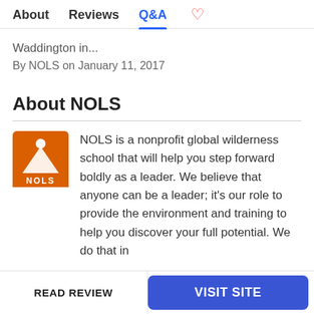About  Reviews  Q&A
Waddington in...
By NOLS on January 11, 2017
About NOLS
[Figure (logo): NOLS logo: orange square with white mountain/person silhouette and 'NOLS' text at bottom]
NOLS is a nonprofit global wilderness school that will help you step forward boldly as a leader. We believe that anyone can be a leader; it’s our role to provide the environment and training to help you discover your full potential. We do that in
READ REVIEW
VISIT SITE